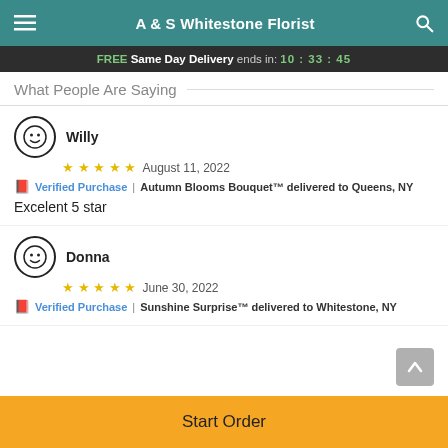A & S Whitestone Florist
FREE Same Day Delivery ends in: 10:33:45
What People Are Saying
Willy — August 11, 2022 — ★★★★★ — Verified Purchase | Autumn Blooms Bouquet™ delivered to Queens, NY — Excelent 5 star
Donna — June 30, 2022 — ★★★★★ — Verified Purchase | Sunshine Surprise™ delivered to Whitestone, NY
Start Order